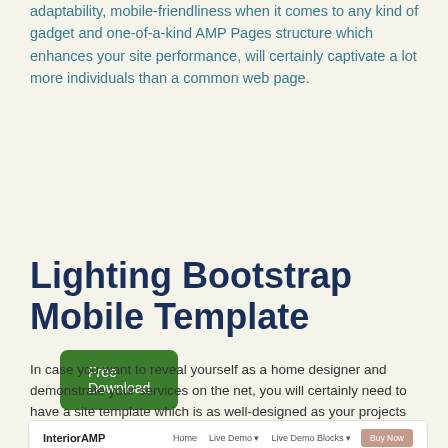adaptability, mobile-friendliness when it comes to any kind of gadget and one-of-a-kind AMP Pages structure which enhances your site performance, will certainly captivate a lot more individuals than a common web page.
Free Download
Lighting Bootstrap Mobile Template
In case you want to reveal yourself as a home designer and demonstrate your services on the net, you will certainly need to have a site template which is as well-designed as your projects are. Right now look at this theme and you will know as a designer that this is the optimal alternative for users just like you.
[Figure (screenshot): Screenshot of InteriorAMP website template showing navigation bar with Home, Live Demo, Live Demo Blocks links and Buy Now button, followed by a dark hero section with light bulb glow and 'Interior Lighting Design' text]